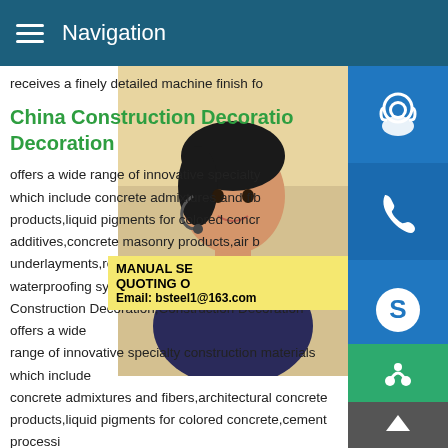Navigation
receives a finely detailed machine finish fo
China Construction Decoration Decoration
offers a wide range of innovative specialty which include concrete admixtures and fib products,liquid pigments for colored concr additives,concrete masonry products,air b underlayments,residential building materia waterproofing systems and fire protection Construction Decoration,Construction Decoration offers a wide range of innovative specialty construction materials which include concrete admixtures and fibers,architectural concrete products,liquid pigments for colored concrete,cement processi additives,concrete masonry products,air barriers,roofing underlayments,residential building materials,structural
[Figure (photo): Customer service woman with headset, overlay with MANUAL SE, QUOTING O, Email: bsteel1@163.com banner and blue icon buttons for chat, phone, Skype on the right side]